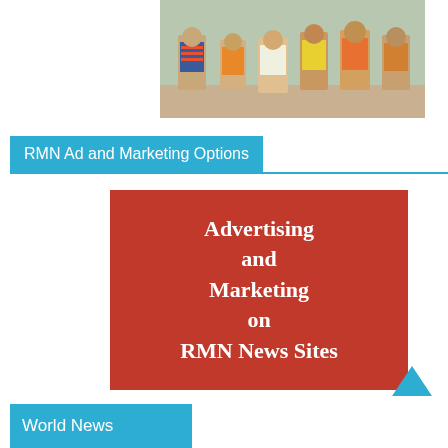[Figure (photo): Photograph of several children standing together outdoors, colorful clothing]
RMN Ad and Marketing Options
[Figure (illustration): Red rectangular box with white bold text reading: Advertising and Marketing on RMN News Sites]
World News